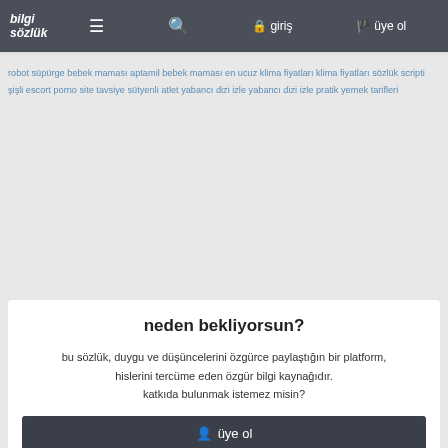bilgi sözlük | ☰ | 🔍 | 🔒 giriş | 🚩 üye ol
robot süpürge bebek maması aptamil bebek maması en ucuz klima fiyatları klima fiyatları sözlük scripti şişli escort porno site tavsiye sütyenli atlet yabancı dizi izle yabancı dizi izle pratik yemek tarifleri
neden bekliyorsun?
bu sözlük, duygu ve düşüncelerini özgürce paylaştığın bir platform, hislerini tercüme eden özgür bilgi kaynağıdır. katkıda bulunmak istemez misin?
👤 üye ol